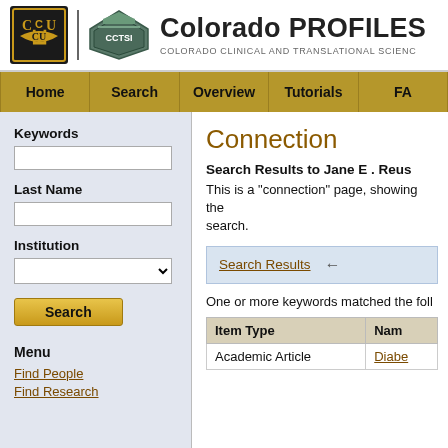Colorado PROFILES | COLORADO CLINICAL AND TRANSLATIONAL SCIENCE
Home | Search | Overview | Tutorials | FA
Keywords
Last Name
Institution
Search
Menu
Find People
Find Research
Connection
Search Results to Jane E . Reus
This is a "connection" page, showing the search.
Search Results
One or more keywords matched the foll
| Item Type | Nam |
| --- | --- |
| Academic Article | Diabe |